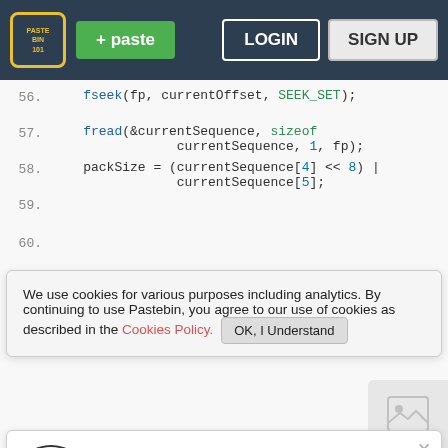Pastebin header with logo, paste button, LOGIN, SIGN UP
56.     fseek(fp, currentOffset, SEEK_SET);
57.     fread(&currentSequence, sizeof currentSequence, 1, fp);
58.     packSize = (currentSequence[4] << 8) | currentSequence[5];
59.
We use cookies for various purposes including analytics. By continuing to use Pastebin, you agree to our use of cookies as described in the Cookies Policy. OK, I Understand
63.     sizeof audioSequence
Not a member of Pastebin yet? Sign Up, it unlocks many cool features!
66.     replaceAudio(fp, packSize - 7);
67.     }
68. }
69.
70. int main()